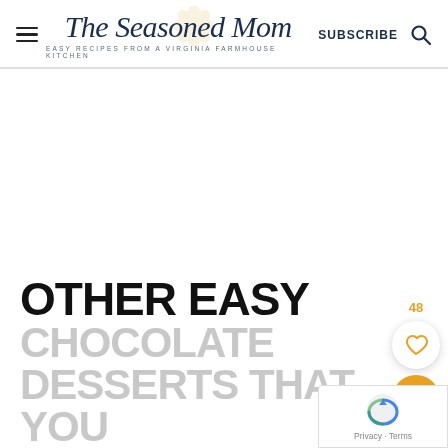The Seasoned Mom — EASY RECIPES FROM A VIRGINIA FARMHOUSE KITCHEN | SUBSCRIBE
[Figure (other): White/blank advertisement space]
48
[Figure (other): Heart (favorite/like) button circle — white circle with orange heart icon]
[Figure (other): Orange circle search button with magnifying glass icon]
OTHER EASY
CHOCOLATE DESSERTS THAT YOU